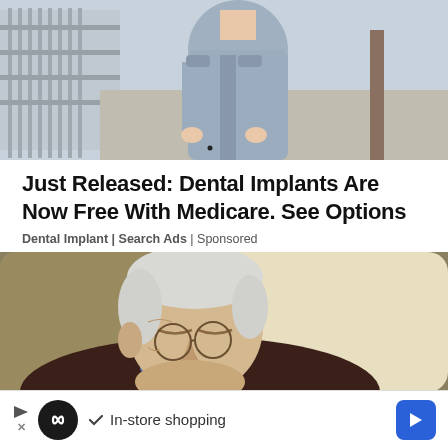[Figure (photo): Photo of a woman in a light blue fitted dress standing on a sidewalk, cropped to show torso and background street scene]
Just Released: Dental Implants Are Now Free With Medicare. See Options
Dental Implant | Search Ads | Sponsored
[Figure (photo): Photo of an elderly man with white hair and glasses sleeping or resting in a green armchair with a cream pillow]
[Figure (other): Advertisement banner with infinity logo, checkmark and text 'In-store shopping', blue arrow badge on right, play and X icons on left]